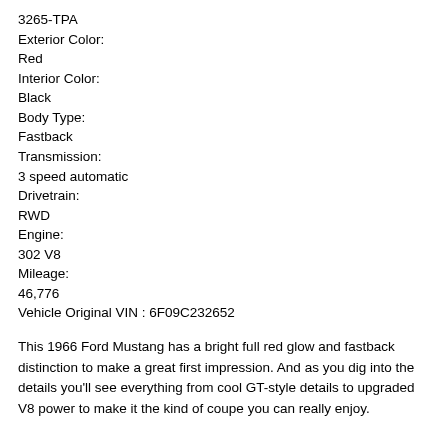3265-TPA
Exterior Color:
Red
Interior Color:
Black
Body Type:
Fastback
Transmission:
3 speed automatic
Drivetrain:
RWD
Engine:
302 V8
Mileage:
46,776
Vehicle Original VIN : 6F09C232652
This 1966 Ford Mustang has a bright full red glow and fastback distinction to make a great first impression. And as you dig into the details you'll see everything from cool GT-style details to upgraded V8 power to make it the kind of coupe you can really enjoy.
An early first-generation Mustang 2+2 is already a great classic. The styling blends artful touches like the cool fastback roofline with the subtle aggressive deep C-channel that runs along the profile. And of course, they always look good in red. This was an upgrade later in life, and so it has a good luster and a modern clearcoat shine that will attract plenty of attention